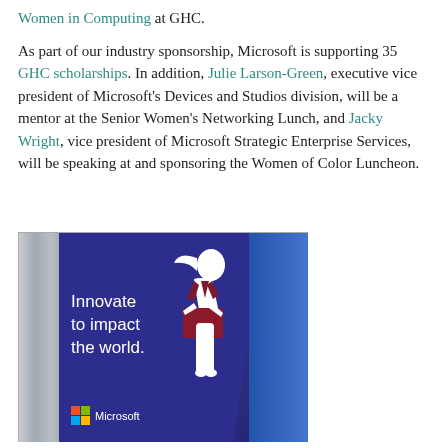Women in Computing at GHC.
As part of our industry sponsorship, Microsoft is supporting 35 GHC scholarships. In addition, Julie Larson-Green, executive vice president of Microsoft's Devices and Studios division, will be a mentor at the Senior Women's Networking Lunch, and Jacky Wright, vice president of Microsoft Strategic Enterprise Services, will be speaking at and sponsoring the Women of Color Luncheon.
[Figure (photo): Photo of a Microsoft banner at GHC (Grace Hopper Celebration) showing a silhouette of a woman holding a tablet/laptop, with the text 'Innovate to impact the world.' and the Microsoft logo on a purple background, next to a silver Airstream trailer.]